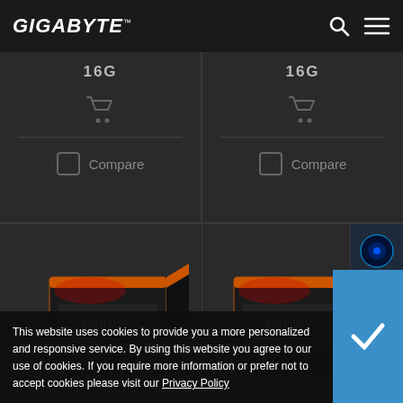GIGABYTE
16G
Compare
16G
Compare
[Figure (photo): Product box for GIGABYTE AORUS graphics card, left card bottom section]
[Figure (photo): Product box for GIGABYTE AORUS graphics card, right card bottom section]
This website uses cookies to provide you a more personalized and responsive service. By using this website you agree to our use of cookies. If you require more information or prefer not to accept cookies please visit our Privacy Policy